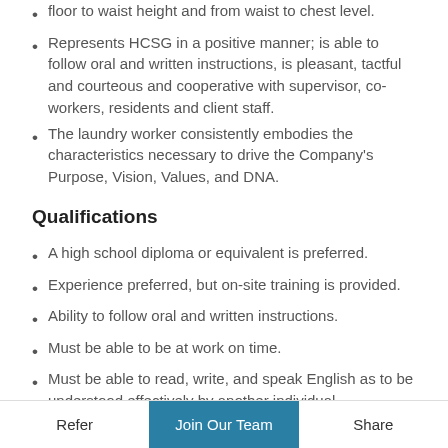floor to waist height and from waist to chest level.
Represents HCSG in a positive manner; is able to follow oral and written instructions, is pleasant, tactful and courteous and cooperative with supervisor, co-workers, residents and client staff.
The laundry worker consistently embodies the characteristics necessary to drive the Company's Purpose, Vision, Values, and DNA.
Qualifications
A high school diploma or equivalent is preferred.
Experience preferred, but on-site training is provided.
Ability to follow oral and written instructions.
Must be able to be at work on time.
Must be able to read, write, and speak English as to be understood effectively by another individual.
Ability to recognize hazards and follow appropriate protective equipment measures, read and understand
Refer   Join Our Team   Share